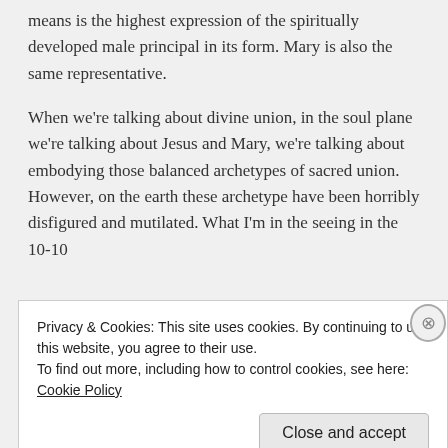means is the highest expression of the spiritually developed male principal in its form. Mary is also the same representative.
When we're talking about divine union, in the soul plane we're talking about Jesus and Mary, we're talking about embodying those balanced archetypes of sacred union. However, on the earth these archetype have been horribly disfigured and mutilated. What I'm in the seeing in the 10-10
Privacy & Cookies: This site uses cookies. By continuing to use this website, you agree to their use.
To find out more, including how to control cookies, see here: Cookie Policy